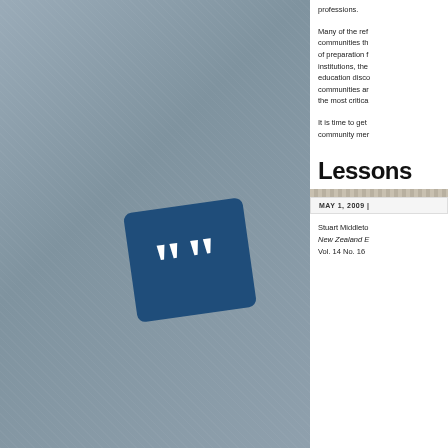[Figure (illustration): Blue-grey panel with a dark blue rounded square icon containing white quotation marks, rotated slightly]
professions.
Many of the ref communities th of preparation f institutions, the education disco communities ar the most critica
It is time to get community mer
Lessons
MAY 1, 2009 |
Stuart Middleto New Zealand E Vol. 14 No. 16